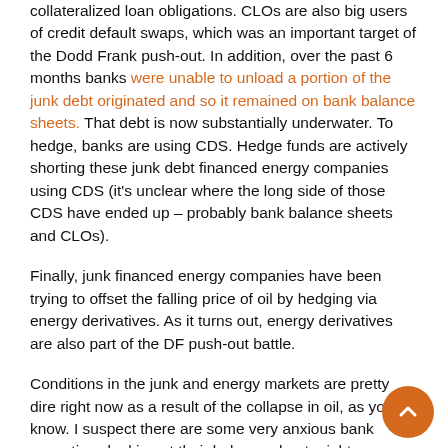collateralized loan obligations. CLOs are also big users of credit default swaps, which was an important target of the Dodd Frank push-out. In addition, over the past 6 months banks were unable to unload a portion of the junk debt originated and so it remained on bank balance sheets. That debt is now substantially underwater. To hedge, banks are using CDS. Hedge funds are actively shorting these junk debt financed energy companies using CDS (it's unclear where the long side of those CDS have ended up – probably bank balance sheets and CLOs).
Finally, junk financed energy companies have been trying to offset the falling price of oil by hedging via energy derivatives. As it turns out, energy derivatives are also part of the DF push-out battle.
Conditions in the junk and energy markets are pretty dire right now as a result of the collapse in oil, as you know. I suspect there are some very anxious bank executives looking at their balance sheets right now.
Since the derivatives push-out rule of Dodd Frank was scheduled to go into affect in 2015, the potential change in managing their exposure may be causing a lot of volatility for banks now – they need to hedge in large numbers at their current conditions within their balance …